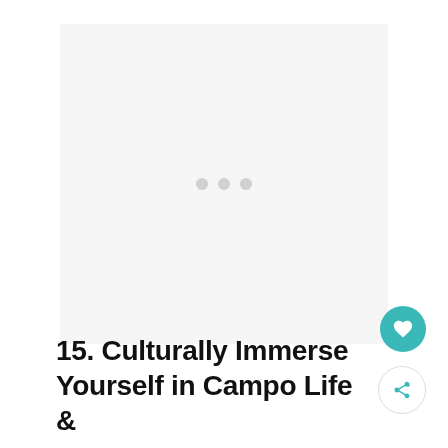[Figure (photo): Large image placeholder area with light grey background and three loading dots in the center, indicating an image is loading]
15. Culturally Immerse Yourself in Campo Life &